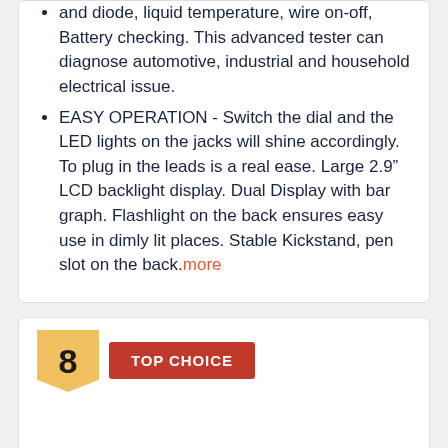and diode, liquid temperature, wire on-off, Battery checking. This advanced tester can diagnose automotive, industrial and household electrical issue.
EASY OPERATION - Switch the dial and the LED lights on the jacks will shine accordingly. To plug in the leads is a real ease. Large 2.9" LCD backlight display. Dual Display with bar graph. Flashlight on the back ensures easy use in dimly lit places. Stable Kickstand, pen slot on the back. more
8 TOP CHOICE